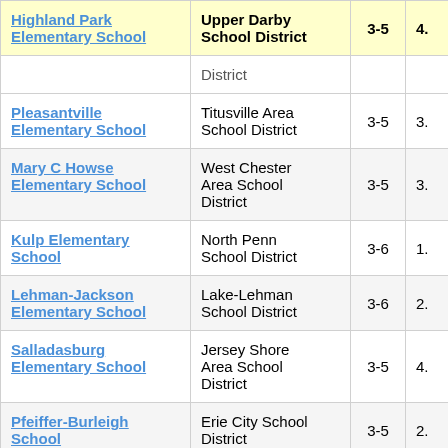| School | District | Grades | Score |
| --- | --- | --- | --- |
| Highland Park Elementary School | Upper Darby School District | 3-5 | 4. |
| (continued row) | District |  |  |
| Pleasantville Elementary School | Titusville Area School District | 3-5 | 3. |
| Mary C Howse Elementary School | West Chester Area School District | 3-5 | 3. |
| Kulp Elementary School | North Penn School District | 3-6 | 1. |
| Lehman-Jackson Elementary School | Lake-Lehman School District | 3-6 | 2. |
| Salladasburg Elementary School | Jersey Shore Area School District | 3-5 | 4. |
| Pfeiffer-Burleigh School | Erie City School District | 3-5 | 2. |
| Midland | Midland |  |  |